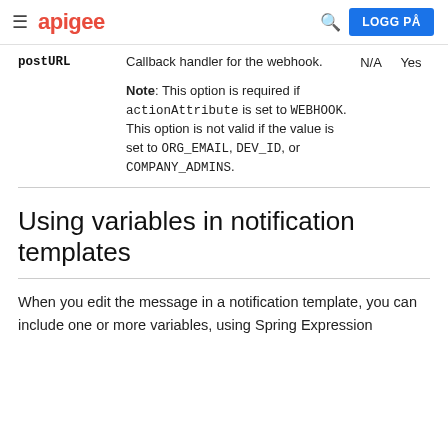apigee | LOGG PÅ
| postURL | Callback handler for the webhook.

Note: This option is required if actionAttribute is set to WEBHOOK. This option is not valid if the value is set to ORG_EMAIL, DEV_ID, or COMPANY_ADMINS. | N/A | Yes |
Using variables in notification templates
When you edit the message in a notification template, you can include one or more variables, using Spring Expression